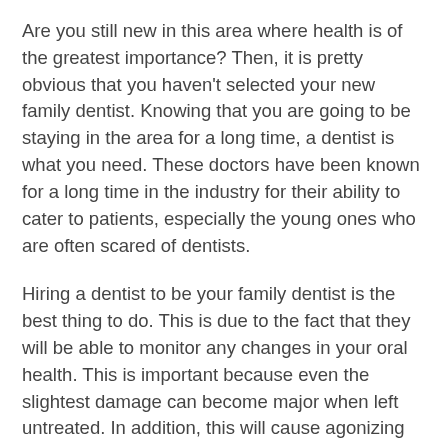Are you still new in this area where health is of the greatest importance? Then, it is pretty obvious that you haven't selected your new family dentist. Knowing that you are going to be staying in the area for a long time, a dentist is what you need. These doctors have been known for a long time in the industry for their ability to cater to patients, especially the young ones who are often scared of dentists.
Hiring a dentist to be your family dentist is the best thing to do. This is due to the fact that they will be able to monitor any changes in your oral health. This is important because even the slightest damage can become major when left untreated. In addition, this will cause agonizing and unbearable pain. If you don't want your loved ones to feel such pain, then you need to choose a family dentist for your family.
One of the things that you will experience by having a family dentist is the reality that you will be saving some